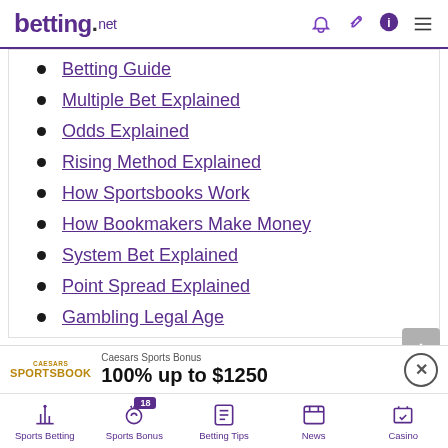betting.net
Betting Guide
Multiple Bet Explained
Odds Explained
Rising Method Explained
How Sportsbooks Work
How Bookmakers Make Money
System Bet Explained
Point Spread Explained
Gambling Legal Age
Caesars Sports Bonus
100% up to $1250
Sports Betting | Sports Bonus 18 | Betting Tips | News | Casino